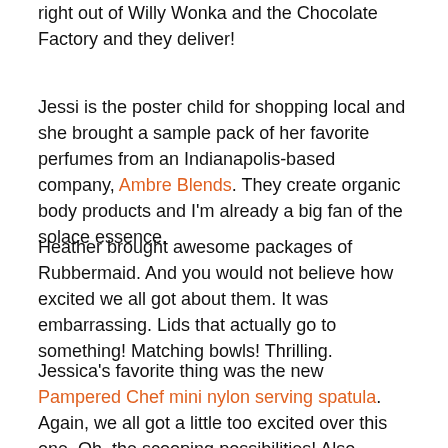right out of Willy Wonka and the Chocolate Factory and they deliver!
Jessi is the poster child for shopping local and she brought a sample pack of her favorite perfumes from an Indianapolis-based company, Ambre Blends. They create organic body products and I'm already a big fan of the solace essence.
Heather brought awesome packages of Rubbermaid. And you would not believe how excited we all got about them. It was embarrassing. Lids that actually go to something! Matching bowls! Thrilling.
Jessica's favorite thing was the new Pampered Chef mini nylon serving spatula. Again, we all got a little too excited over this one. Oh, the scooping possibilities! Also, welcome to adulthood, let's make brownies!